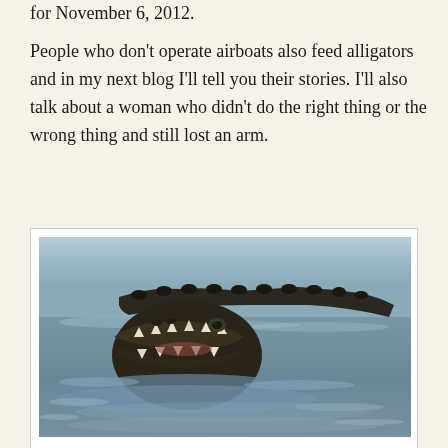for November 6, 2012.
People who don't operate airboats also feed alligators and in my next blog I'll tell you their stories. I'll also talk about a woman who didn't do the right thing or the wrong thing and still lost an arm.
[Figure (photo): An alligator photographed from the front-side view, showing the open jaws with teeth visible, floating in water with ripples around it. The alligator's scaly back extends behind it.]
An alligator cruises along looking for something to eat